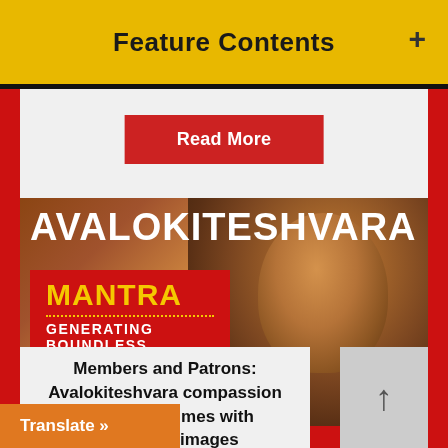Feature Contents
Read More
[Figure (illustration): Avalokiteshvara bronze statue with golden decorations and halo. Text overlay reads: AVALOKITESHVARA in white bold font at top. Red banner reading MANTRA with dotted line, GENERATING BOUNDLESS in white text, and COMPASSION in yellow bold.]
Members and Patrons: Avalokiteshvara compassion mantra 108 times with meditative images
Translate »